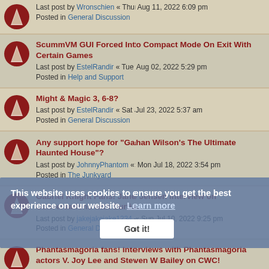Last post by Wronschien « Thu Aug 11, 2022 6:09 pm
Posted in General Discussion
ScummVM GUI Forced Into Compact Mode On Exit With Certain Games
Last post by EstelRandir « Tue Aug 02, 2022 5:29 pm
Posted in Help and Support
Might & Magic 3, 6-8?
Last post by EstelRandir « Sat Jul 23, 2022 5:37 am
Posted in General Discussion
Any support hope for "Gahan Wilson's The Ultimate Haunted House"?
Last post by JohnnyPhantom « Mon Jul 18, 2022 3:54 pm
Posted in The Junkyard
Gabriel Knight Fans! Jane Jensen interview on Conversations with Curtis.
Last post by jakejakejake1234 « Sun Jul 10, 2022 9:25 pm
Posted in General Discussion
Phantasmagoria fans! Interviews with Phantasmagoria actors V. Joy Lee and Steven W Bailey on CWC!
Last post by jakejakejake1234 « Wed Jul 06, 2022 10:13 am
Posted in General Discussion
Migrating IDA .idb to .i64 or Ghidra
Last post by cmb « Fri Jul 01, 2022 2:40 pm
Posted in General Discussion
[REQUEST] B.A.T and B.A.T II
Last post by jul16ares « Thu Jun 16, 2022 7:46 pm
This website uses cookies to ensure you get the best experience on our website. Learn more
Got it!